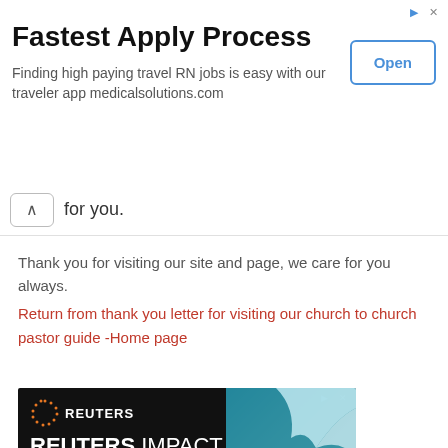[Figure (other): Advertisement banner: Fastest Apply Process. Finding high paying travel RN jobs is easy with our traveler app medicalsolutions.com. Open button on right.]
↑ for you.
Thank you for visiting our site and page, we care for you always.
Return from thank you letter for visiting our church to church pastor guide -Home page
[Figure (other): Reuters Impact advertisement. IN-PERSON CONFERENCE & GLOBAL BROADCAST. MOBILIZING GLOBAL BUSINESS TO DELIVER ON CLIMATE ACTION. FIND OUT MORE HERE button.]